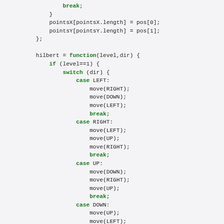Code snippet showing JavaScript hilbert curve function with switch/case statements for LEFT, RIGHT, UP, DOWN directions